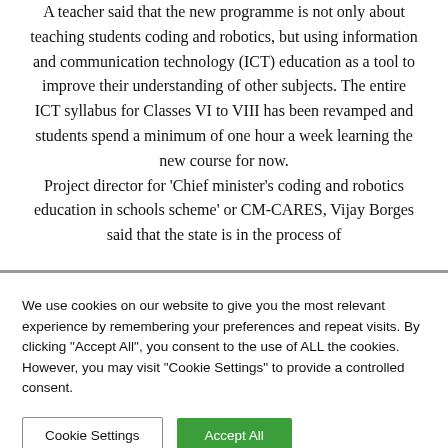A teacher said that the new programme is not only about teaching students coding and robotics, but using information and communication technology (ICT) education as a tool to improve their understanding of other subjects. The entire ICT syllabus for Classes VI to VIII has been revamped and students spend a minimum of one hour a week learning the new course for now. Project director for 'Chief minister's coding and robotics education in schools scheme' or CM-CARES, Vijay Borges said that the state is in the process of
We use cookies on our website to give you the most relevant experience by remembering your preferences and repeat visits. By clicking "Accept All", you consent to the use of ALL the cookies. However, you may visit "Cookie Settings" to provide a controlled consent.